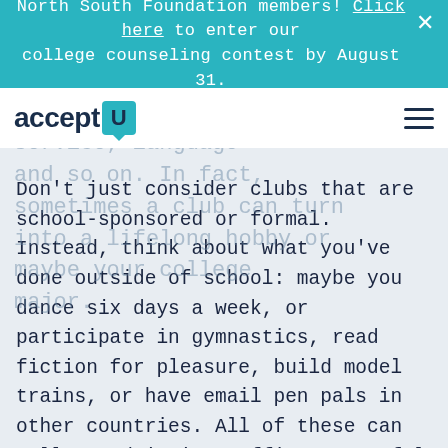North South Foundation members! Click here to enter our college counseling contest by August 31.
[Figure (logo): AcceptU logo with teal U box and hamburger menu icon]
sports, the arts, community service, language and so on. In fact, sometimes a club can turn into a lifelong hobby or maybe your college major.
Don't just consider clubs that are school-sponsored or formal. Instead, think about what you've done outside of school: maybe you dance six days a week, or participate in gymnastics, read fiction for pleasure, build model trains, or have email pen pals in other countries. All of these can tell an admissions officer an awful lot about you.
Colleges want to see what kind of person you are, and what makes you, you. They want to see what kinds of contributions you'll make to their